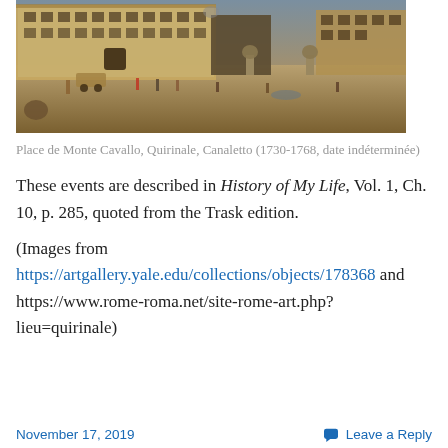[Figure (illustration): Painting of Place de Monte Cavallo, Quirinale by Canaletto (1730-1768). Shows a grand baroque piazza with a large palace facade, horse statues on pedestals, figures in the square, and a carriage.]
Place de Monte Cavallo, Quirinale, Canaletto (1730-1768, date indéterminée)
These events are described in History of My Life, Vol. 1, Ch. 10, p. 285, quoted from the Trask edition.
(Images from https://artgallery.yale.edu/collections/objects/178368 and https://www.rome-roma.net/site-rome-art.php?lieu=quirinale)
November 17, 2019    Leave a Reply